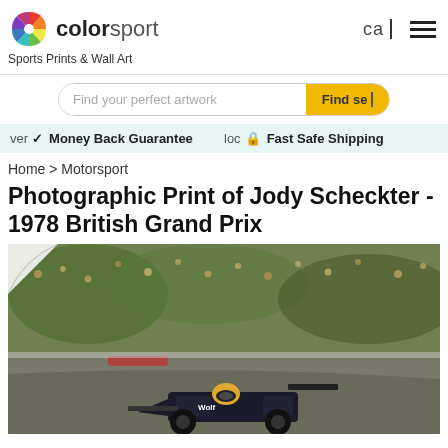[Figure (logo): Colorsport logo with colorful pinwheel and text 'colorsport']
Sports Prints & Wall Art
Find your perfect artwork
Money Back Guarantee
Fast Safe Shipping
Home > Motorsport
Photographic Print of Jody Scheckter - 1978 British Grand Prix
[Figure (photo): Formula 1 racing car on track at the 1978 British Grand Prix, Jody Scheckter driving, with crowd in background]